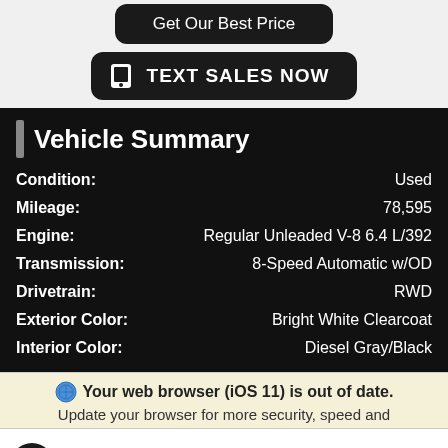Get Our Best Price
TEXT SALES NOW
Vehicle Summary
| Field | Value |
| --- | --- |
| Condition: | Used |
| Mileage: | 78,595 |
| Engine: | Regular Unleaded V-8 6.4 L/392 |
| Transmission: | 8-Speed Automatic w/OD |
| Drivetrain: | RWD |
| Exterior Color: | Bright White Clearcoat |
| Interior Color: | Diesel Gray/Black |
Your web browser (iOS 11) is out of date. Update your browser for more security, speed and
TEXT SALES TEAM
(626) 542-1240